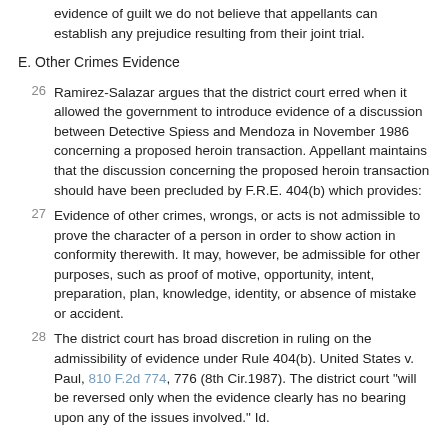evidence of guilt we do not believe that appellants can establish any prejudice resulting from their joint trial.
E. Other Crimes Evidence
26  Ramirez-Salazar argues that the district court erred when it allowed the government to introduce evidence of a discussion between Detective Spiess and Mendoza in November 1986 concerning a proposed heroin transaction. Appellant maintains that the discussion concerning the proposed heroin transaction should have been precluded by F.R.E. 404(b) which provides:
27  Evidence of other crimes, wrongs, or acts is not admissible to prove the character of a person in order to show action in conformity therewith. It may, however, be admissible for other purposes, such as proof of motive, opportunity, intent, preparation, plan, knowledge, identity, or absence of mistake or accident.
28  The district court has broad discretion in ruling on the admissibility of evidence under Rule 404(b). United States v. Paul, 810 F.2d 774, 776 (8th Cir.1987). The district court "will be reversed only when the evidence clearly has no bearing upon any of the issues involved." Id.